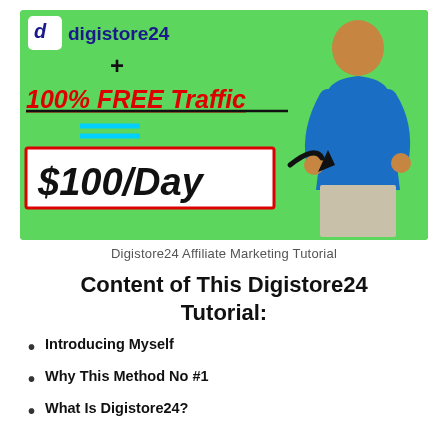[Figure (illustration): Thumbnail image with green background showing Digistore24 logo, '100% FREE Traffic' text in red italic with underline, '+' symbol, '=' equals sign in cyan, '$100/Day' in black italic inside a red-bordered white box, a black arrow pointing to the box, and a man in blue shirt standing on the right side.]
Digistore24 Affiliate Marketing Tutorial
Content of This Digistore24 Tutorial:
Introducing Myself
Why This Method No #1
What Is Digistore24?